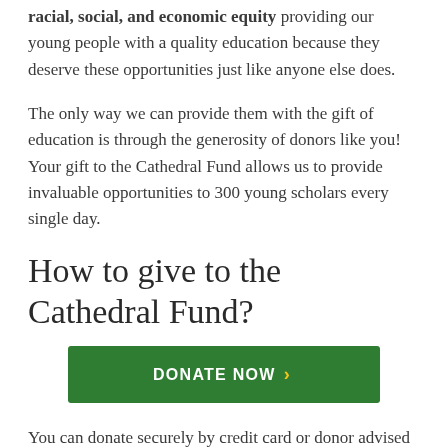racial, social, and economic equity providing our young people with a quality education because they deserve these opportunities just like anyone else does.
The only way we can provide them with the gift of education is through the generosity of donors like you!  Your gift to the Cathedral Fund allows us to provide invaluable opportunities to 300 young scholars every single day.
How to give to the Cathedral Fund?
[Figure (other): Green DONATE NOW button with yellow chevron arrow]
You can donate securely by credit card or donor advised fund by clicking here, or you can text